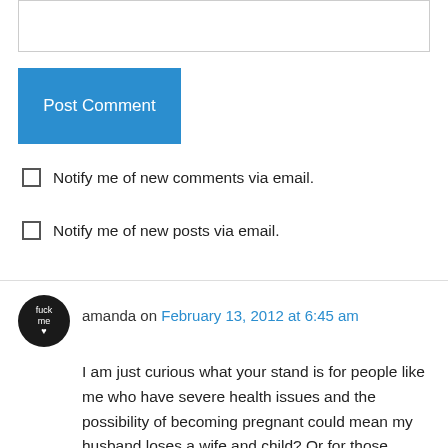[Figure (other): Text input textarea box (comment form field)]
Post Comment
Notify me of new comments via email.
Notify me of new posts via email.
amanda on February 13, 2012 at 6:45 am
I am just curious what your stand is for people like me who have severe health issues and the possibility of becoming pregnant could mean my husband loses a wife and child? Or for those families who cannot afford multiple children? What is your advice for them? And no, natural